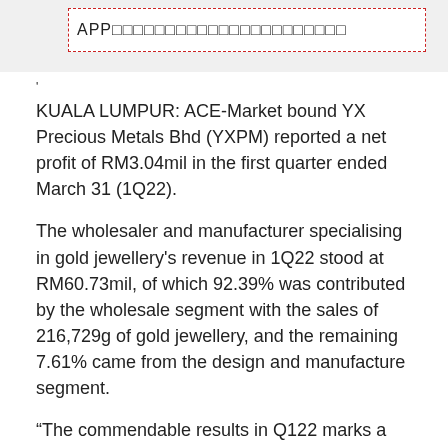[Figure (other): Red dashed border box containing APP text/logo banner at top of page]
'
KUALA LUMPUR: ACE-Market bound YX Precious Metals Bhd (YXPM) reported a net profit of RM3.04mil in the first quarter ended March 31 (1Q22).
The wholesaler and manufacturer specialising in gold jewellery's revenue in 1Q22 stood at RM60.73mil, of which 92.39% was contributed by the wholesale segment with the sales of 216,729g of gold jewellery, and the remaining 7.61% came from the design and manufacture segment.
“The commendable results in Q122 marks a strong start for the year and rest assured we will not rest on our laurels and will build on our growth momentum to reach greater heights.
This initial public offering (IPO) exercise will allow us to leverage on the increased demand for gold jewellery by expanding our product portfolio to include a new range of hollow gold jewellery to the market,” managing director Ng Sheau Chyn said in a statement.